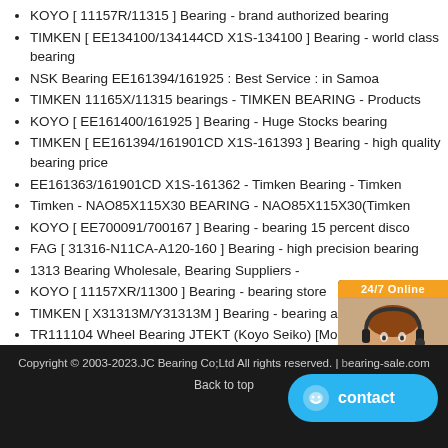KOYO [ 11157R/11315 ] Bearing - brand authorized bearing
TIMKEN [ EE134100/134144CD X1S-134100 ] Bearing - world class bearing
NSK Bearing EE161394/161925 : Best Service : in Samoa
TIMKEN 11165X/11315 bearings - TIMKEN BEARING - Products
KOYO [ EE161400/161925 ] Bearing - Huge Stocks bearing
TIMKEN [ EE161394/161901CD X1S-161393 ] Bearing - high quality bearing price
EE161363/161901CD X1S-161362 - Timken Bearing - Timken
Timken - NAO85X115X30 BEARING - NAO85X115X30(Timken
KOYO [ EE700091/700167 ] Bearing - bearing 15 percent disco
FAG [ 31316-N11CA-A120-160 ] Bearing - high precision bearing
1313 Bearing Wholesale, Bearing Suppliers -
KOYO [ 11157XR/11300 ] Bearing - bearing store
TIMKEN [ X31313M/Y31313M ] Bearing - bearing agent consult
TR111104 Wheel Bearing JTEKT (Koyo Seiko) [MonotaRO
Koyo 1311K H311 Bearings - FAB Bearing Co.,
Copyright © 2003-2023.JC Bearing Co;Ltd All rights reserved. | bearing-sale.com
Back to top